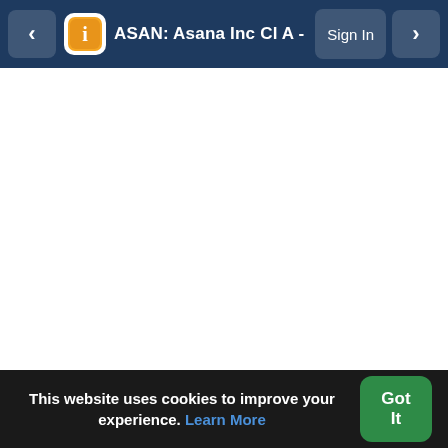ASAN: Asana Inc Cl A - Overview | I3inve  Sign In
[Figure (screenshot): White empty content area of a financial website (I3investor) showing ASAN: Asana Inc Cl A Overview page, content not loaded]
This website uses cookies to improve your experience. Learn More
Got It